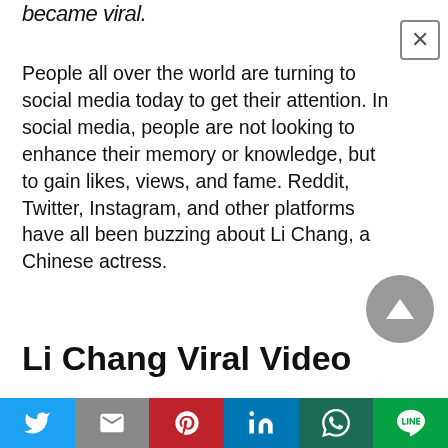became viral.
People all over the world are turning to social media today to get their attention. In social media, people are not looking to enhance their memory or knowledge, but to gain likes, views, and fame. Reddit, Twitter, Instagram, and other platforms have all been buzzing about Li Chang, a Chinese actress.
Li Chang Viral Video
[Figure (other): Social share bar with Twitter, Gmail, Pinterest, LinkedIn, WhatsApp, and LINE buttons]